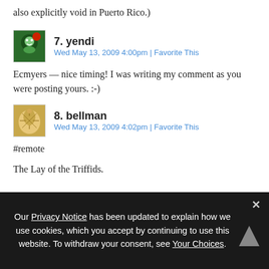also explicitly void in Puerto Rico.)
7. yendi
Wed May 13, 2009 4:00pm | Favorite This
Ecmyers — nice timing! I was writing my comment as you were posting yours. :-)
8. bellman
Wed May 13, 2009 4:02pm | Favorite This
#remote
The Lay of the Triffids.
Our Privacy Notice has been updated to explain how we use cookies, which you accept by continuing to use this website. To withdraw your consent, see Your Choices.